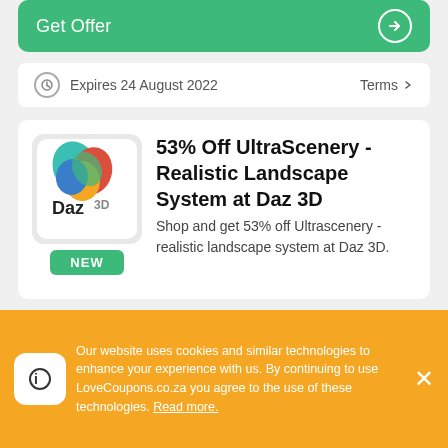Get Offer
Expires 24 August 2022  Terms
[Figure (logo): Daz 3D logo with colorful abstract 3D figure and Daz 3D wordmark]
53% Off UltraScenery - Realistic Landscape System at Daz 3D
Shop and get 53% off Ultrascenery - realistic landscape system at Daz 3D.
Get Offer
Our website uses cookies and similar technologies to enhance your experience with us. By continuing to use LoveCoupons.co.za you agree to the use of these technologies. Read more.